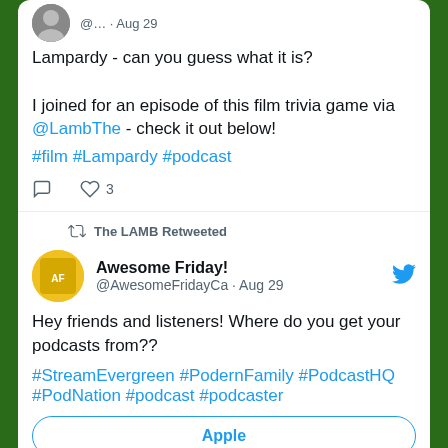Lampardy - can you guess what it is?

I joined for an episode of this film trivia game via @LambThe - check it out below!
#film #Lampardy #podcast
The LAMB Retweeted
Awesome Friday! @AwesomeFridayCa · Aug 29
Hey friends and listeners! Where do you get your podcasts from??
#StreamEvergreen #PodernFamily #PodcastHQ #PodNation #podcast #podcaster
Apple
Spotify